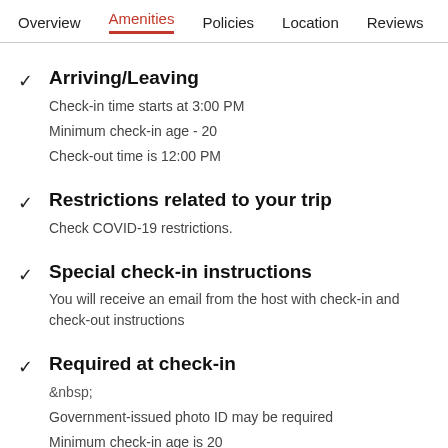Overview  Amenities  Policies  Location  Reviews
Arriving/Leaving
Check-in time starts at 3:00 PM
Minimum check-in age - 20
Check-out time is 12:00 PM
Restrictions related to your trip
Check COVID-19 restrictions.
Special check-in instructions
You will receive an email from the host with check-in and check-out instructions
Required at check-in
&nbsp;
Government-issued photo ID may be required
Minimum check-in age is 20
Pets